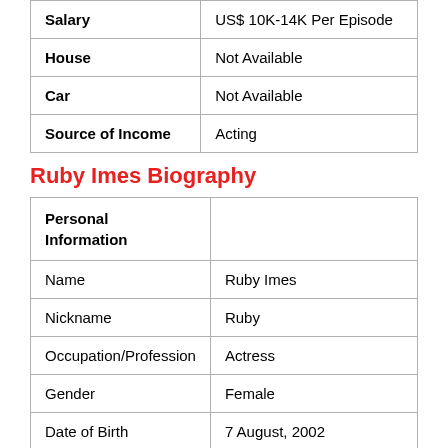| Field | Value |
| --- | --- |
| Salary | US$ 10K-14K Per Episode |
| House | Not Available |
| Car | Not Available |
| Source of Income | Acting |
Ruby Imes Biography
| Field | Value |
| --- | --- |
| Personal Information |  |
| Name | Ruby Imes |
| Nickname | Ruby |
| Occupation/Profession | Actress |
| Gender | Female |
| Date of Birth | 7 August, 2002 |